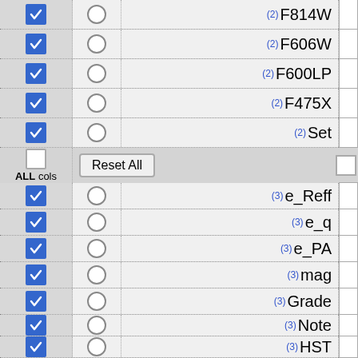[Figure (screenshot): A UI panel showing a list of astronomical filter/parameter column selectors. Each row has a blue checkbox (checked), a radio button (uncircled), a group label in parentheses with a column name, and a small white box on the right. A 'Reset All' control row appears in the middle with an unchecked checkbox labeled 'ALL cols'. Rows include: F814W(2), F606W(2), F600LP(2), F475X(2), Set(2), [Reset All row], e_Reff(3), e_q(3), e_PA(3), mag(3), Grade(3), Note(3), HST(3).]